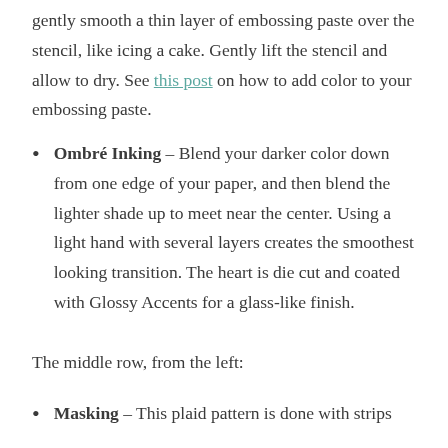gently smooth a thin layer of embossing paste over the stencil, like icing a cake. Gently lift the stencil and allow to dry. See this post on how to add color to your embossing paste.
Ombré Inking – Blend your darker color down from one edge of your paper, and then blend the lighter shade up to meet near the center. Using a light hand with several layers creates the smoothest looking transition. The heart is die cut and coated with Glossy Accents for a glass-like finish.
The middle row, from the left:
Masking – This plaid pattern is done with strips